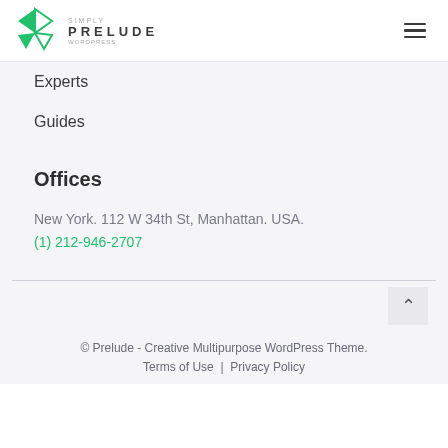PRELUDE
Experts
Guides
Offices
New York. 112 W 34th St, Manhattan. USA.
(1) 212-946-2707
© Prelude - Creative Multipurpose WordPress Theme.
Terms of Use | Privacy Policy